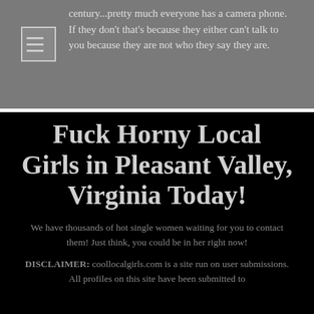century...pretty much everyone has a camera phone. If they don't that's because they either can't talk to you because they are not who they say they are.
Fuck Horny Local Girls in Pleasant Valley, Virginia Today!
We have thousands of hot single women waiting for you to contact them! Just think, you could be in her right now!
DISCLAIMER: coollocalgirls.com is a site run on user submissions. All profiles on this site have been submitted to